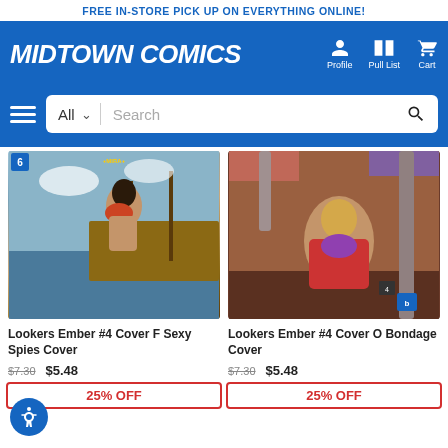FREE IN-STORE PICK UP ON EVERYTHING ONLINE!
[Figure (logo): Midtown Comics logo - white italic bold text on blue background]
[Figure (screenshot): Navigation icons: Profile, Pull List, Cart on blue background]
[Figure (screenshot): Search bar with hamburger menu, All dropdown, Search input and search button]
[Figure (illustration): Lookers Ember #4 Cover F Sexy Spies Cover - comic book cover art showing woman in bikini on boat]
Lookers Ember #4 Cover F Sexy Spies Cover
$7.30  $5.48  25% OFF
[Figure (illustration): Lookers Ember #4 Cover O Bondage Cover - comic book cover art]
Lookers Ember #4 Cover O Bondage Cover
$7.30  $5.48  25% OFF